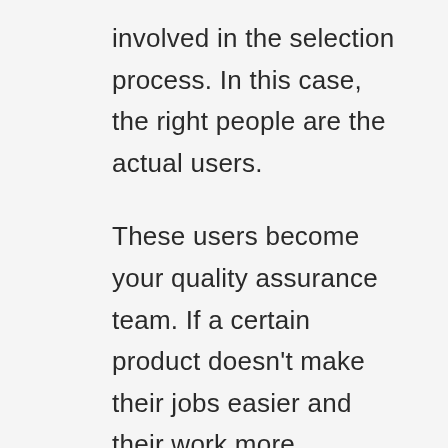involved in the selection process. In this case, the right people are the actual users.
These users become your quality assurance team. If a certain product doesn't make their jobs easier and their work more efficient, then they will gladly eliminate that product from consideration.
The next step is to brainstorm with your team to identify the top three solutions